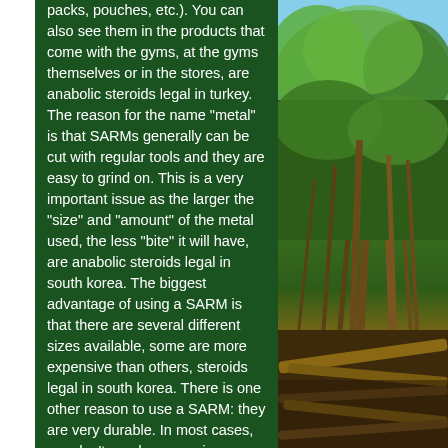packs, pouches, etc.). You can also see them in the products that come with the gyms, at the gyms themselves or in the stores, are anabolic steroids legal in turkey. The reason for the name "metal" is that SARMs generally can be cut with regular tools and they are easy to grind on. This is a very important issue as the larger the "size" and "amount" of the metal used, the less "bite" it will have, are anabolic steroids legal in south korea. The biggest advantage of using a SARM is that there are several different sizes available, some are more expensive than others, steroids legal in south korea. There is one other reason to use a SARM: they are very durable. In most cases, you don't need any repairs or replacement. The biggest damage that occurs with a metal that is used in bodybuilding is when it comes in contact with an abrasive tool and when it comes into
[Figure (photo): Outdoor forest/woodland scene showing tall thin trees with green foliage against a blue sky, with what appears to be a wooden fence or log structure in the foreground at the bottom]